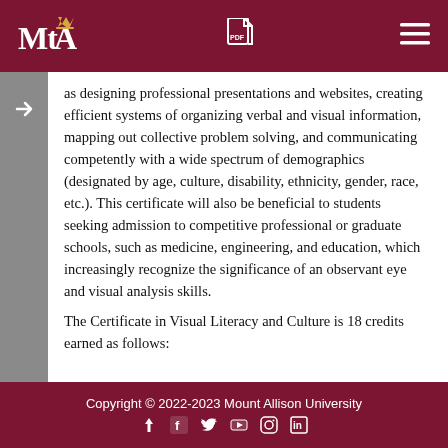MtA logo header with PDF icon and menu icon
as designing professional presentations and websites, creating efficient systems of organizing verbal and visual information, mapping out collective problem solving, and communicating competently with a wide spectrum of demographics (designated by age, culture, disability, ethnicity, gender, race, etc.). This certificate will also be beneficial to students seeking admission to competitive professional or graduate schools, such as medicine, engineering, and education, which increasingly recognize the significance of an observant eye and visual analysis skills.
The Certificate in Visual Literacy and Culture is 18 credits earned as follows:
Copyright © 2022-2023 Mount Allison University